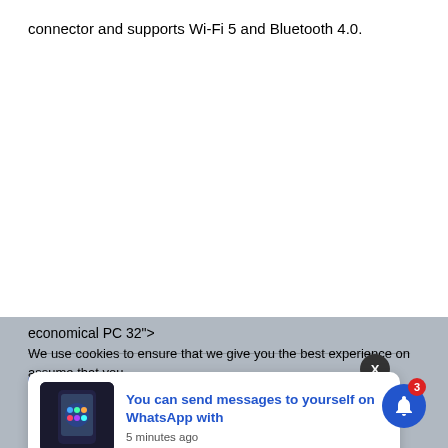connector and supports Wi-Fi 5 and Bluetooth 4.0.
economical PC 32">
We use cookies to ensure that we give you the best experience on
[Figure (screenshot): Notification popup showing phone image and WhatsApp message notification: 'You can send messages to yourself on WhatsApp with' - 5 minutes ago]
assume that you
ts, another USB
CMOS re
button in case you ever need to restore the JB95 to its factory